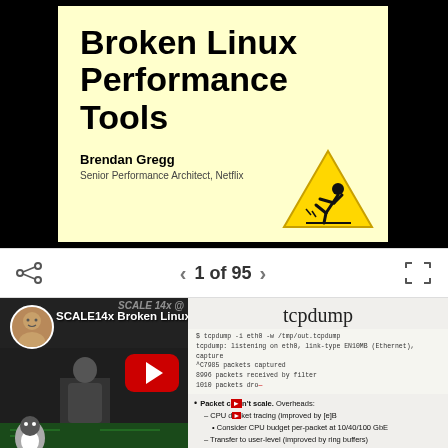[Figure (screenshot): Slide screenshot showing 'Broken Linux Performance Tools' title with warning triangle sign, by Brendan Gregg, Senior Performance Architect, Netflix]
1 of 95
[Figure (screenshot): YouTube video thumbnail for SCALE14x Broken Linux Performance Tools showing speaker and tcpdump slide. Bullet points about packet capture not scaling. Play button overlay visible.]